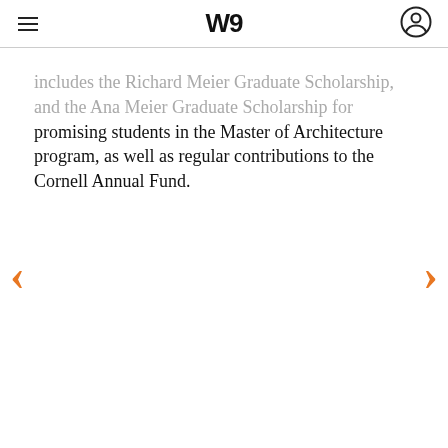W (logo with hamburger menu and user icon)
includes the Richard Meier Graduate Scholarship, and the Ana Meier Graduate Scholarship for promising students in the Master of Architecture program, as well as regular contributions to the Cornell Annual Fund.